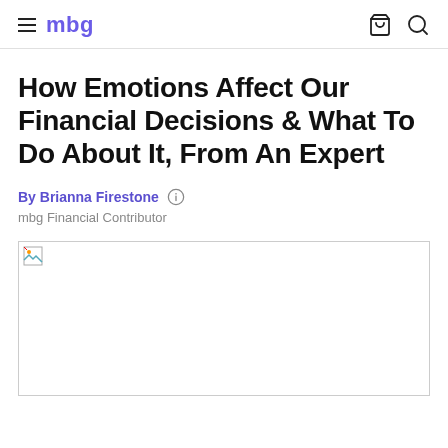mbg
How Emotions Affect Our Financial Decisions & What To Do About It, From An Expert
By Brianna Firestone
mbg Financial Contributor
[Figure (photo): Article header image (broken/not loaded)]